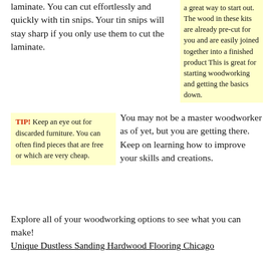laminate. You can cut effortlessly and quickly with tin snips. Your tin snips will stay sharp if you only use them to cut the laminate.
a great way to start out. The wood in these kits are already pre-cut for you and are easily joined together into a finished product This is great for starting woodworking and getting the basics down.
TIP! Keep an eye out for discarded furniture. You can often find pieces that are free or which are very cheap.
You may not be a master woodworker as of yet, but you are getting there. Keep on learning how to improve your skills and creations.
Explore all of your woodworking options to see what you can make!
Unique Dustless Sanding Hardwood Flooring Chicago